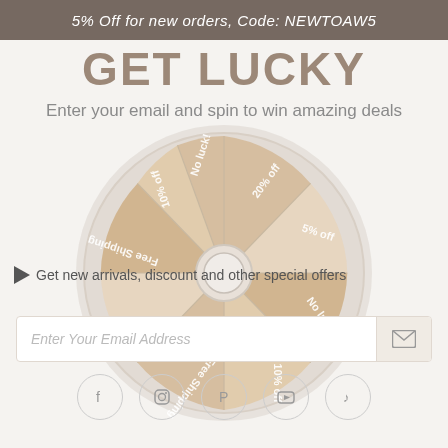5% Off for new orders, Code: NEWTOAW5
GET LUCKY
Enter your email and spin to win amazing deals
[Figure (other): A spin-the-wheel prize wheel with segments labeled: 20% off, 5% off, No luck!, 10% off, Free Shipping (x2), 15% off (x2), 10% off, No luck!, and other segments, rendered in beige/tan tones with a white center hub]
Get new arrivals, discount and other special offers
Enter Your Email Address
[Figure (infographic): Social media icon circles for Facebook, Instagram, Pinterest, YouTube, and TikTok]